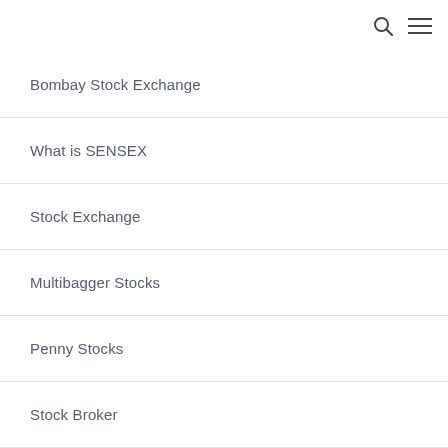Bombay Stock Exchange
What is SENSEX
Stock Exchange
Multibagger Stocks
Penny Stocks
Stock Broker
Stock Trading
Nifty
Mid Cap Stocks
Small Cap Stocks